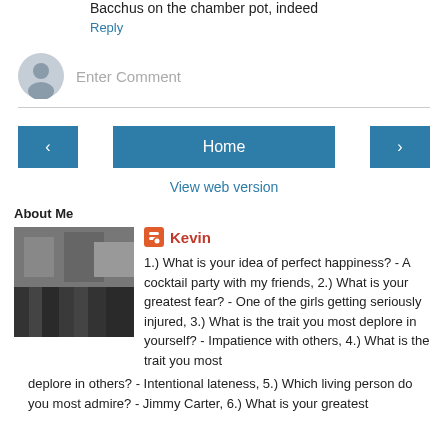Bacchus on the chamber pot, indeed
Reply
Enter Comment
‹
Home
›
View web version
About Me
Kevin
1.) What is your idea of perfect happiness? - A cocktail party with my friends, 2.) What is your greatest fear? - One of the girls getting seriously injured, 3.) What is the trait you most deplore in yourself? - Impatience with others, 4.) What is the trait you most deplore in others? - Intentional lateness, 5.) Which living person do you most admire? - Jimmy Carter, 6.) What is your greatest